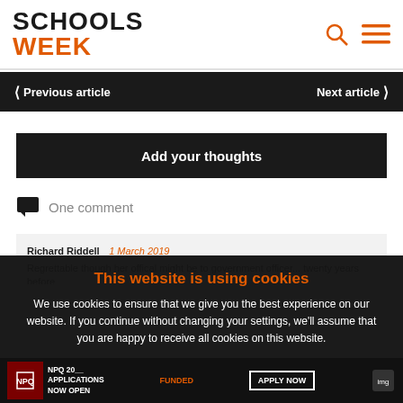SCHOOLS WEEK
< Previous article   Next article >
Add your thoughts
One comment
Richard Riddell  1 March 2019
Regrettable though her offical might be to government officer... twenty years before
This website is using cookies
We use cookies to ensure that we give you the best experience on our website. If you continue without changing your settings, we'll assume that you are happy to receive all cookies on this website.
Accept / Learn More
NPQ 20__ APPLICATIONS NOW OPEN  FUNDED  APPLY NOW